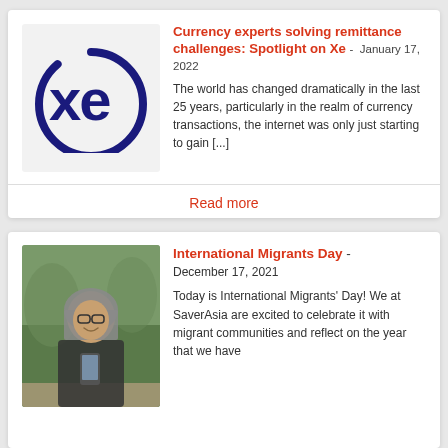[Figure (logo): XE currency logo — dark blue circle with 'xe' letters inside]
Currency experts solving remittance challenges: Spotlight on Xe - January 17, 2022
The world has changed dramatically in the last 25 years, particularly in the realm of currency transactions, the internet was only just starting to gain [...]
Read more
[Figure (photo): Photo of a woman wearing a hijab and glasses, smiling while holding a phone, seated outdoors in a green garden setting]
International Migrants Day - December 17, 2021
Today is International Migrants' Day! We at SaverAsia are excited to celebrate it with migrant communities and reflect on the year that we have